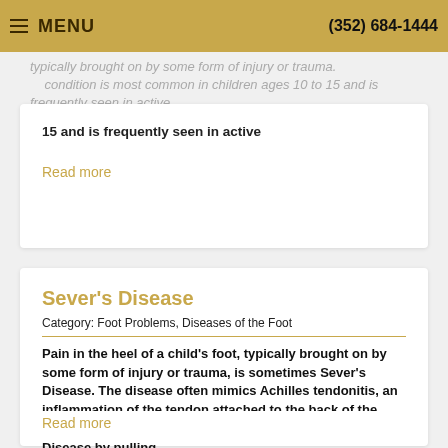MENU | (352) 684-1444
typically brought on by some form of injury or trauma. ...condition is most common in children ages 10 to 15 and is frequently seen in active
Read more
Sever's Disease
Category: Foot Problems, Diseases of the Foot
Pain in the heel of a child's foot, typically brought on by some form of injury or trauma, is sometimes Sever's Disease. The disease often mimics Achilles tendonitis, an inflammation of the tendon attached to the back of the heel. A tight Achilles tendon may contribute to Sever's Disease by pulling
Read more